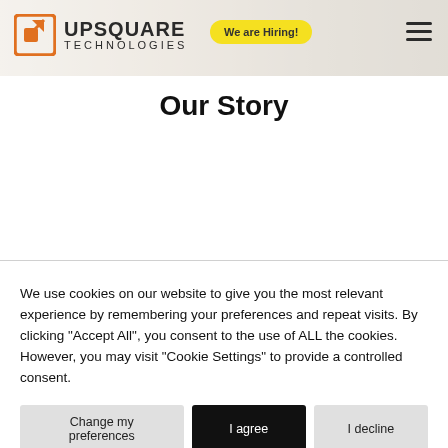[Figure (screenshot): Upsquare Technologies website header banner with office background image, orange logo icon, UPSQUARE TECHNOLOGIES text, yellow 'We are Hiring!' badge, and hamburger menu icon]
Our Story
We use cookies on our website to give you the most relevant experience by remembering your preferences and repeat visits. By clicking "Accept All", you consent to the use of ALL the cookies. However, you may visit "Cookie Settings" to provide a controlled consent.
Change my preferences | I agree | I decline